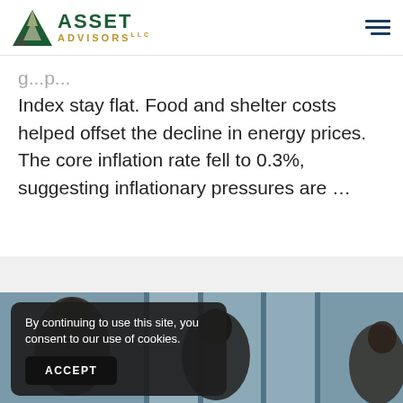Asset Advisors LLC
g...p... Index stay flat. Food and shelter costs helped offset the decline in energy prices. The core inflation rate fell to 0.3%, suggesting inflationary pressures are ...
[Figure (photo): Photo of people in an office or business setting, partially visible behind a cookie consent overlay]
By continuing to use this site, you consent to our use of cookies.